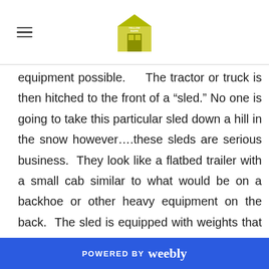[Yellow Barn logo and navigation]
equipment possible.    The tractor or truck is then hitched to the front of a “sled.” No one is going to take this particular sled down a hill in the snow however....these sleds are serious business.  They look like a flatbed trailer with a small cab similar to what would be on a backhoe or other heavy equipment on the back.  The sled is equipped with weights that are on a track.  The weights slide forward as the sled moves forward making it increasingly difficult for the tractor or truck to pull it and eventually they come to a hard stop at the end of
POWERED BY weebly